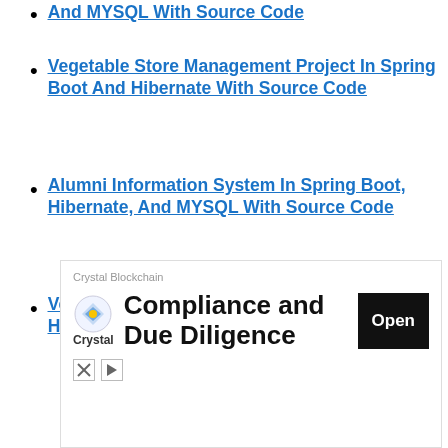And MYSQL With Source Code
Vegetable Store Management Project In Spring Boot And Hibernate With Source Code
Alumni Information System In Spring Boot, Hibernate, And MYSQL With Source Code
Venue Booking System In Spring Boot and Hibernate With Source Code
[Figure (screenshot): Advertisement banner for Crystal Blockchain showing 'Compliance and Due Diligence' with an Open button]